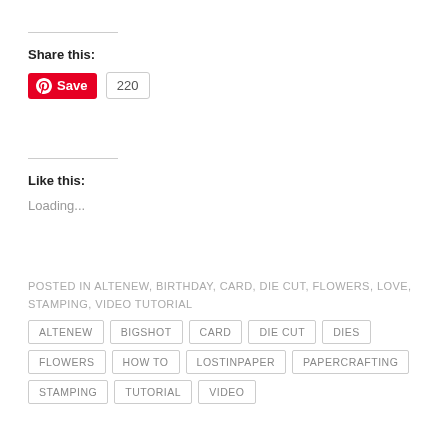Share this:
[Figure (other): Pinterest Save button with red background showing P logo and 'Save' text, followed by a count badge showing 220]
Like this:
Loading...
POSTED IN ALTENEW, BIRTHDAY, CARD, DIE CUT, FLOWERS, LOVE, STAMPING, VIDEO TUTORIAL
ALTENEW
BIGSHOT
CARD
DIE CUT
DIES
FLOWERS
HOW TO
LOSTINPAPER
PAPERCRAFTING
STAMPING
TUTORIAL
VIDEO